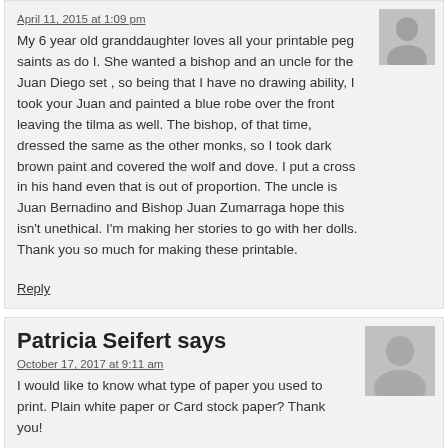April 11, 2015 at 1:09 pm
My 6 year old granddaughter loves all your printable peg saints as do I. She wanted a bishop and an uncle for the Juan Diego set , so being that I have no drawing ability, I took your Juan and painted a blue robe over the front leaving the tilma as well. The bishop, of that time, dressed the same as the other monks, so I took dark brown paint and covered the wolf and dove. I put a cross in his hand even that is out of proportion. The uncle is Juan Bernadino and Bishop Juan Zumarraga hope this isn't unethical. I'm making her stories to go with her dolls. Thank you so much for making these printable.
Reply
Patricia Seifert says
October 17, 2017 at 9:11 am
I would like to know what type of paper you used to print. Plain white paper or Card stock paper? Thank you!